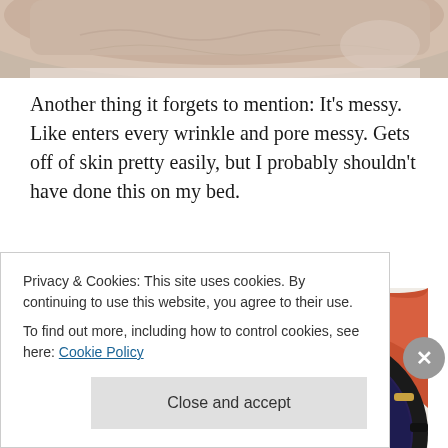[Figure (photo): Partial image of a hand or skin, cropped at top of page]
Another thing it forgets to mention: It's messy. Like enters every wrinkle and pore messy. Gets off of skin pretty easily, but I probably shouldn't have done this on my bed.
[Figure (photo): Black rhinestone-embellished sunglasses with round lenses lying on a white surface with some colourful items in background]
Privacy & Cookies: This site uses cookies. By continuing to use this website, you agree to their use.
To find out more, including how to control cookies, see here: Cookie Policy

Close and accept